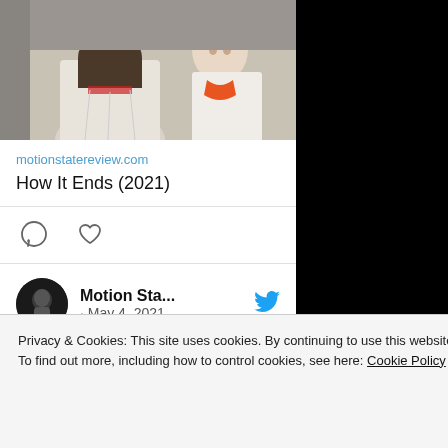[Figure (photo): Movie still showing two people in white clothing, one facing away, from How It Ends (2021)]
motionstatereview.com
How It Ends (2021)
[Figure (other): Comment and like icons]
Motion Sta... · May 4, 2021
#Lupin has a fair number of plot holes, but it also has one of the best actors around... Monsieur
Privacy & Cookies: This site uses cookies. By continuing to use this website, you agree to their use.
To find out more, including how to control cookies, see here: Cookie Policy
Close and accept